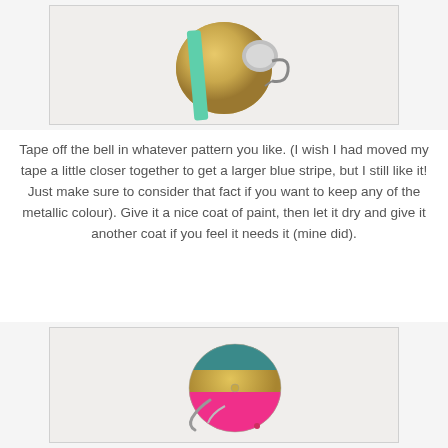[Figure (photo): Top-down view of a gold and silver bicycle bell with green/mint masking tape applied across it in a stripe pattern, on a white surface.]
Tape off the bell in whatever pattern you like. (I wish I had moved my tape a little closer together to get a larger blue stripe, but I still like it! Just make sure to consider that fact if you want to keep any of the metallic colour). Give it a nice coat of paint, then let it dry and give it another coat if you feel it needs it (mine did).
[Figure (photo): A bicycle bell viewed from the side/above, painted with sections of teal/blue, gold metallic, and hot pink, mounted with silver hardware on a white surface.]